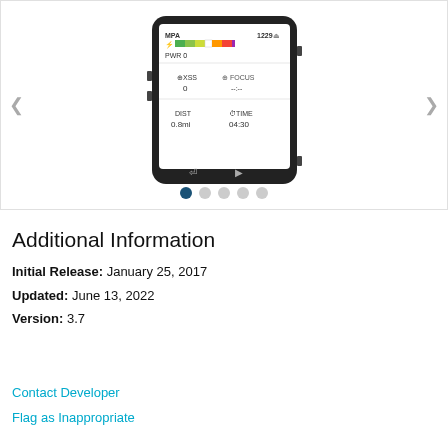[Figure (screenshot): A cycling GPS device (Garmin Edge style) showing a training data screen with MPA 1229, PWR 0, XSS 0, FOCUS -:-, DIST 0.8mi, TIME 04:30, with a rainbow power bar at the top. Navigation arrows on left and right, and 5 pagination dots below (first dot active).]
Additional Information
Initial Release: January 25, 2017
Updated: June 13, 2022
Version: 3.7
Contact Developer
Flag as Inappropriate